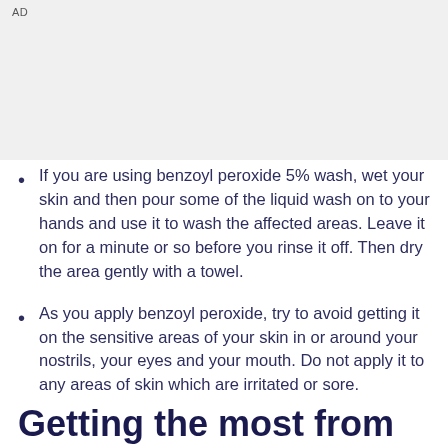AD
If you are using benzoyl peroxide 5% wash, wet your skin and then pour some of the liquid wash on to your hands and use it to wash the affected areas. Leave it on for a minute or so before you rinse it off. Then dry the area gently with a towel.
As you apply benzoyl peroxide, try to avoid getting it on the sensitive areas of your skin in or around your nostrils, your eyes and your mouth. Do not apply it to any areas of skin which are irritated or sore.
ADVERTISEMENT
Getting the most from